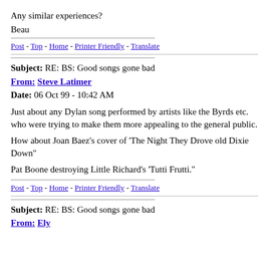Any similar experiences?
Beau
Post - Top - Home - Printer Friendly - Translate
Subject: RE: BS: Good songs gone bad
From: Steve Latimer
Date: 06 Oct 99 - 10:42 AM
Just about any Dylan song performed by artists like the Byrds etc. who were trying to make them more appealing to the general public.
How about Joan Baez's cover of 'The Night They Drove old Dixie Down"
Pat Boone destroying Little Richard's 'Tutti Frutti."
Post - Top - Home - Printer Friendly - Translate
Subject: RE: BS: Good songs gone bad
From: Ely